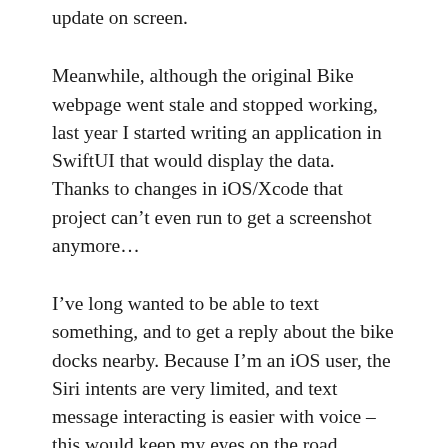update on screen.
Meanwhile, although the original Bike webpage went stale and stopped working, last year I started writing an application in SwiftUI that would display the data. Thanks to changes in iOS/Xcode that project can’t even run to get a screenshot anymore…
I’ve long wanted to be able to text something, and to get a reply about the bike docks nearby. Because I’m an iOS user, the Siri intents are very limited, and text message interacting is easier with voice – this would keep my eyes on the road.
So, after an idea just before bed, over the last